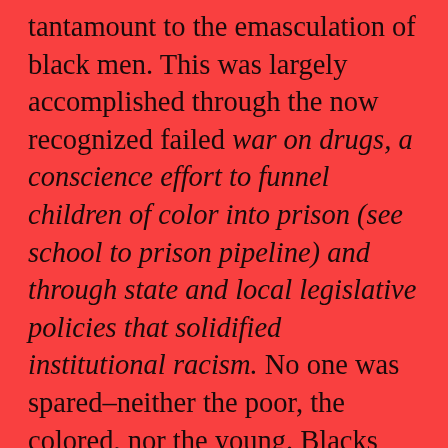tantamount to the emasculation of black men. This was largely accomplished through the now recognized failed war on drugs, a conscience effort to funnel children of color into prison (see school to prison pipeline) and through state and local legislative policies that solidified institutional racism. No one was spared–neither the poor, the colored, nor the young. Blacks from the middle and upper classes, who had hoped that the content of their character would be the sine quo non of a new American racially egalitarian society, bore witness to their own struggles of racism at work, in their communities and the